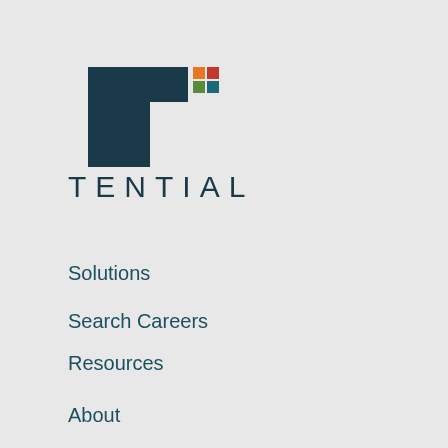[Figure (logo): Tential company logo: a bold dark teal T-shape with a small grid of colored squares (orange, red, green) at top right, above the word TENTIAL in spaced capital letters]
Solutions
Search Careers
Resources
About